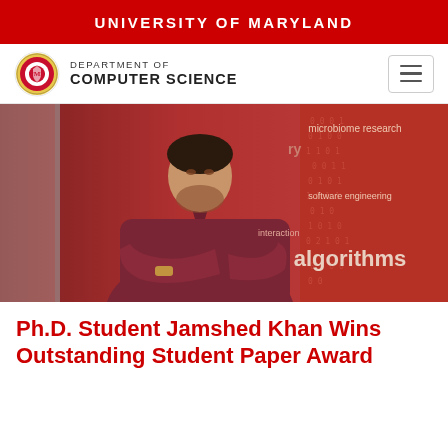UNIVERSITY OF MARYLAND
[Figure (logo): University of Maryland seal logo with Department of Computer Science text and hamburger menu icon]
[Figure (photo): Photo of Ph.D. student Jamshed Khan standing with arms crossed in front of a red banner displaying words including 'algorithms', 'microbiome research', 'software engineering', 'interaction' with binary numbers in background]
Ph.D. Student Jamshed Khan Wins Outstanding Student Paper Award